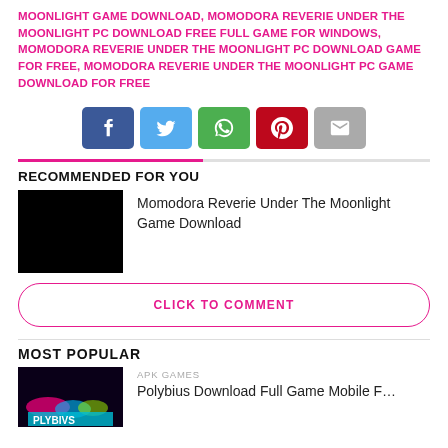MOONLIGHT GAME DOWNLOAD, MOMODORA REVERIE UNDER THE MOONLIGHT PC DOWNLOAD FREE FULL GAME FOR WINDOWS, MOMODORA REVERIE UNDER THE MOONLIGHT PC DOWNLOAD GAME FOR FREE, MOMODORA REVERIE UNDER THE MOONLIGHT PC GAME DOWNLOAD FOR FREE
[Figure (infographic): Social share buttons: Facebook (blue), Twitter (light blue), WhatsApp (green), Pinterest (red), Email (grey)]
RECOMMENDED FOR YOU
[Figure (photo): Black thumbnail image for Momodora Reverie Under The Moonlight]
Momodora Reverie Under The Moonlight Game Download
CLICK TO COMMENT
MOST POPULAR
APK GAMES
Polybius Download Full Game Mobile F…